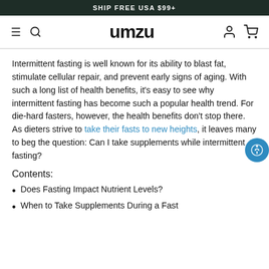SHIP FREE USA $99+
[Figure (logo): UMZU logo with hamburger menu, search, account, and cart icons in navigation bar]
Intermittent fasting is well known for its ability to blast fat, stimulate cellular repair, and prevent early signs of aging. With such a long list of health benefits, it’s easy to see why intermittent fasting has become such a popular health trend. For die-hard fasters, however, the health benefits don’t stop there. As dieters strive to take their fasts to new heights, it leaves many to beg the question: Can I take supplements while intermittent fasting?
Contents:
Does Fasting Impact Nutrient Levels?
When to Take Supplements During a Fast